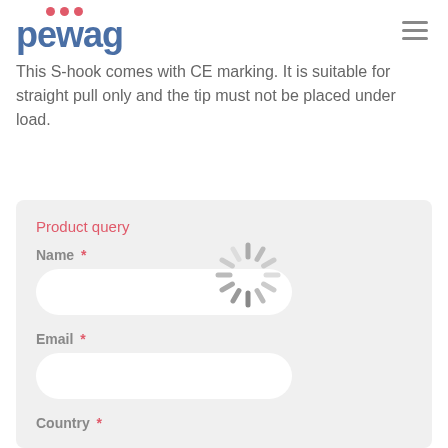pewag
This S-hook comes with CE marking. It is suitable for straight pull only and the tip must not be placed under load.
Product query
Name *
Email *
Country *